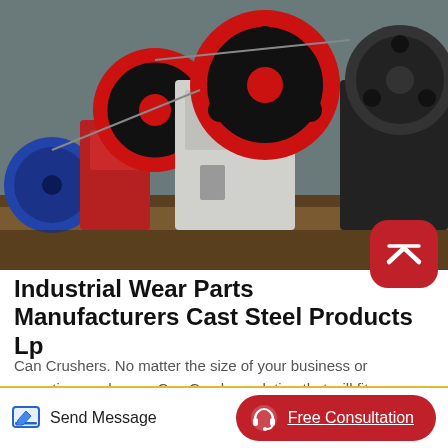[Figure (photo): Industrial jaw crusher machines with large red-rimmed flywheels on a metal platform, photographed outdoors]
Industrial Wear Parts Manufacturers Cast Steel Products Lp
Can Crushers. No matter the size of your business or operation, we have a Can Crusher solution that will fit your needs. Our rugged and easy to operate Can Crushers are ideal to reduce your can volume while saving your business money. View the Machine Shop...